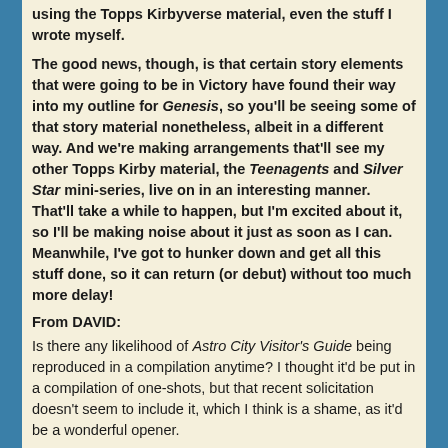using the Topps Kirbyverse material, even the stuff I wrote myself.

The good news, though, is that certain story elements that were going to be in Victory have found their way into my outline for Genesis, so you'll be seeing some of that story material nonetheless, albeit in a different way. And we're making arrangements that'll see my other Topps Kirby material, the Teenagents and Silver Star mini-series, live on in an interesting manner. That'll take a while to happen, but I'm excited about it, so I'll be making noise about it just as soon as I can. Meanwhile, I've got to hunker down and get all this stuff done, so it can return (or debut) without too much more delay!
From DAVID:
Is there any likelihood of Astro City Visitor's Guide being reproduced in a compilation anytime? I thought it'd be put in a compilation of one-shots, but that recent solicitation doesn't seem to include it, which I think is a shame, as it'd be a wonderful opener.